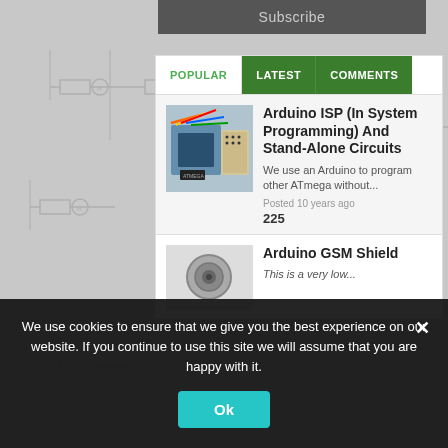Subscribe
POPULAR | LATEST | COMMENTS
Arduino ISP (In System Programming) And Stand-Alone Circuits
We use an Arduino to program other ATmega without...
Posted 10 years ago
225
Arduino GSM Shield
This is a very low...
We use cookies to ensure that we give you the best experience on our website. If you continue to use this site we will assume that you are happy with it.